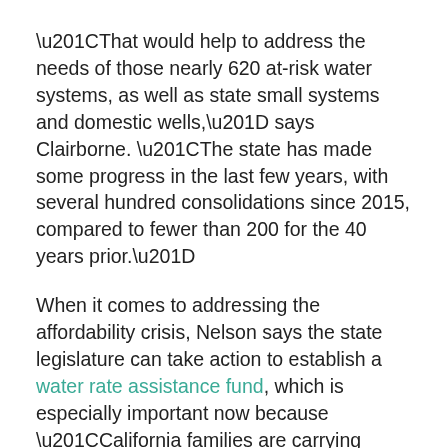“That would help to address the needs of those nearly 620 at-risk water systems, as well as state small systems and domestic wells,” says Clairborne. “The state has made some progress in the last few years, with several hundred consolidations since 2015, compared to fewer than 200 for the 40 years prior.”
When it comes to addressing the affordability crisis, Nelson says the state legislature can take action to establish a water rate assistance fund, which is especially important now because “California families are carrying billion in pandemic-caused water debt,” he says.
The report also found that a broader, more regional look at potential solutions could cut costs. In one example outlined in the study, if 25 smaller water systems in Monterey County...